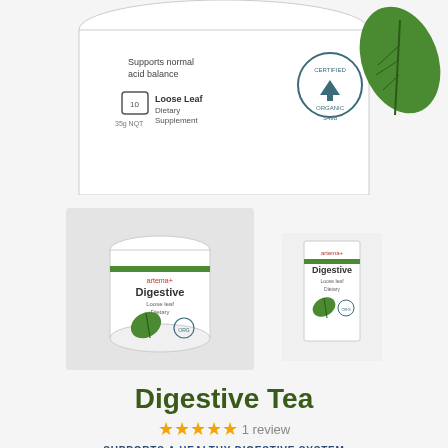[Figure (photo): Top portion of Arterra+ Digestive Tea loose leaf canister with 'Supports normal acid balance' text, Loose Leaf Dietary Supplement label, and Certified Organic badge. Large green leaf visible on right.]
[Figure (photo): Two product shots: main large image of Arterra+ Digestive Tea canister on grey background; smaller image of Digestive Tea box packaging on right.]
Digestive Tea
★★★★★ 1 review
SUPPORTS A HEALTHY DIGESTIVE SYSTEM
$23.90